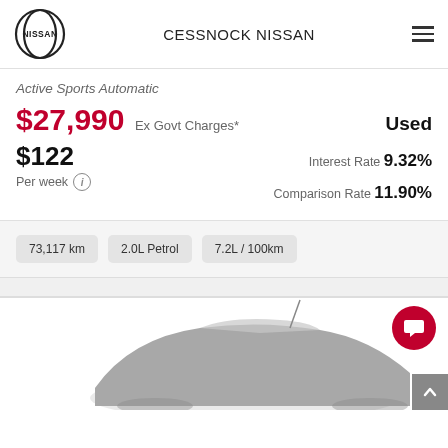[Figure (logo): Nissan logo - circular emblem with NISSAN text]
CESSNOCK NISSAN
Active Sports Automatic
$27,990 Ex Govt Charges* Used
$122 Per week  Interest Rate 9.32%  Comparison Rate 11.90%
73,117 km
2.0L Petrol
7.2L / 100km
[Figure (photo): Partial rear view of a gray/silver car on white background]